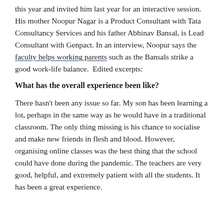this year and invited him last year for an interactive session. His mother Noopur Nagar is a Product Consultant with Tata Consultancy Services and his father Abhinav Bansal, is Lead Consultant with Genpact. In an interview, Noopur says the faculty helps working parents such as the Bansals strike a good work-life balance.  Edited excerpts:
What has the overall experience been like?
There hasn't been any issue so far. My son has been learning a lot, perhaps in the same way as he would have in a traditional classroom. The only thing missing is his chance to socialise and make new friends in flesh and blood. However, organising online classes was the best thing that the school could have done during the pandemic. The teachers are very good, helpful, and extremely patient with all the students. It has been a great experience.